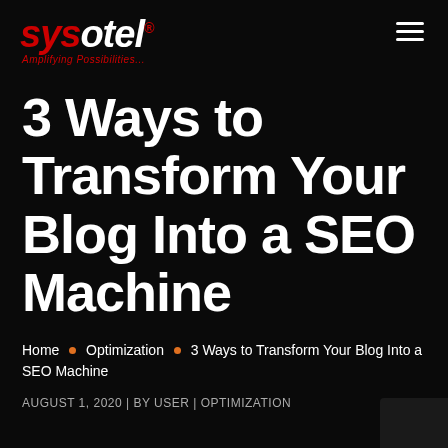[Figure (logo): Sysotel logo with red italic text and tagline 'Amplifying Possibilities...' in red]
3 Ways to Transform Your Blog Into a SEO Machine
Home • Optimization • 3 Ways to Transform Your Blog Into a SEO Machine
AUGUST 1, 2020 | BY USER | OPTIMIZATION